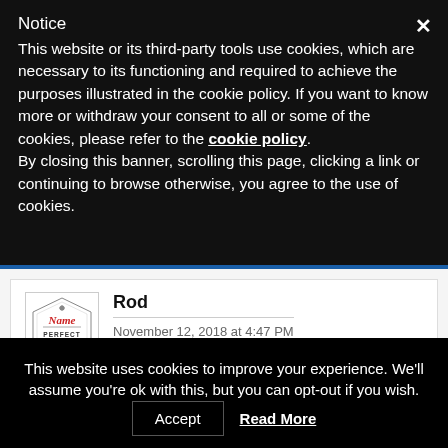Notice
This website or its third-party tools use cookies, which are necessary to its functioning and required to achieve the purposes illustrated in the cookie policy. If you want to know more or withdraw your consent to all or some of the cookies, please refer to the cookie policy.
By closing this banner, scrolling this page, clicking a link or continuing to browse otherwise, you agree to the use of cookies.
Rod
November 12, 2018 at 4:47 PM
Great show. Very informative! I enjoy hearing about how domains will fit into the progression of the current technology revolution.
This website uses cookies to improve your experience. We'll assume you're ok with this, but you can opt-out if you wish.
Accept   Read More